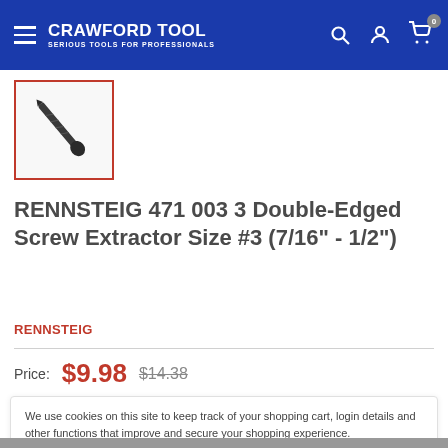CRAWFORD TOOL SERIOUS TOOLS FOR PROFESSIONALS
[Figure (photo): Screw extractor tool — a long dark metal tool with a pointed tip and ball end, shown diagonally]
RENNSTEIG 471 003 3 Double-Edged Screw Extractor Size #3 (7/16" - 1/2")
RENNSTEIG
Price: $9.98 $14.38
We use cookies on this site to keep track of your shopping cart, login details and other functions that improve and secure your shopping experience.